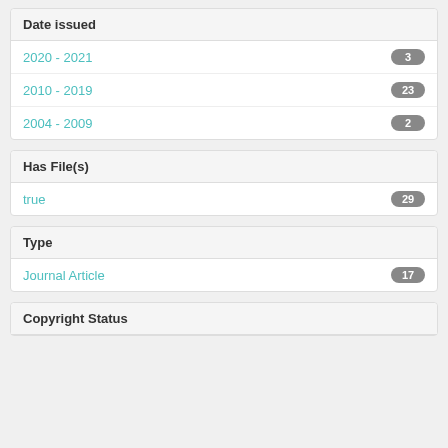Date issued
2020 - 2021  3
2010 - 2019  23
2004 - 2009  2
Has File(s)
true  29
Type
Journal Article  17
Copyright Status